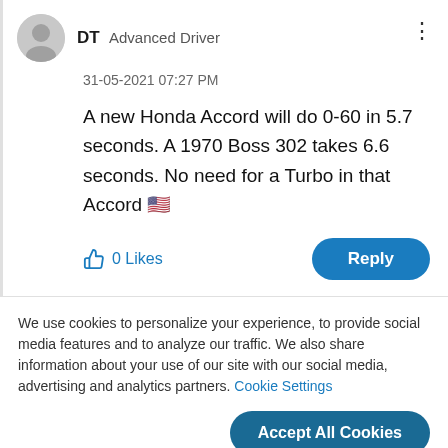DT  Advanced Driver
31-05-2021 07:27 PM
A new Honda Accord will do 0-60 in 5.7 seconds. A 1970 Boss 302 takes 6.6 seconds. No need for a Turbo in that Accord 🇺🇸
0 Likes
Reply
We use cookies to personalize your experience, to provide social media features and to analyze our traffic. We also share information about your use of our site with our social media, advertising and analytics partners. Cookie Settings
Accept All Cookies